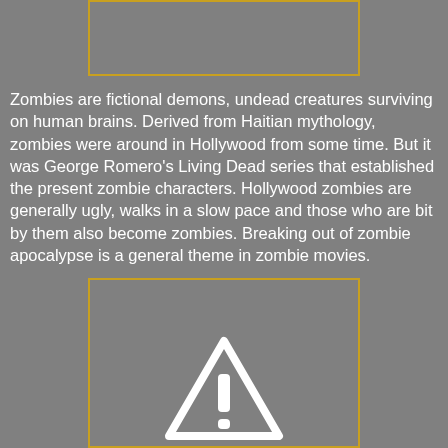[Figure (other): Placeholder image box with orange border, top of page]
Zombies are fictional demons, undead creatures surviving on human brains. Derived from Haitian mythology, zombies were around in Hollywood from some time. But it was George Romero's Living Dead series that established the present zombie characters. Hollywood zombies are generally ugly, walks in a slow pace and those who are bit by them also become zombies. Breaking out of zombie apocalypse is a general theme in zombie movies.
[Figure (other): Image box with orange border showing a warning/caution triangle icon with exclamation mark in white]